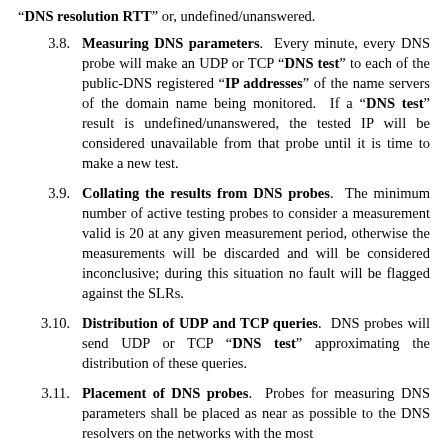"DNS resolution RTT" or, undefined/unanswered.
3.8. Measuring DNS parameters. Every minute, every DNS probe will make an UDP or TCP "DNS test" to each of the public-DNS registered "IP addresses" of the name servers of the domain name being monitored. If a "DNS test" result is undefined/unanswered, the tested IP will be considered unavailable from that probe until it is time to make a new test.
3.9. Collating the results from DNS probes. The minimum number of active testing probes to consider a measurement valid is 20 at any given measurement period, otherwise the measurements will be discarded and will be considered inconclusive; during this situation no fault will be flagged against the SLRs.
3.10. Distribution of UDP and TCP queries. DNS probes will send UDP or TCP "DNS test" approximating the distribution of these queries.
3.11. Placement of DNS probes. Probes for measuring DNS parameters shall be placed as near as possible to the DNS resolvers on the networks with the most